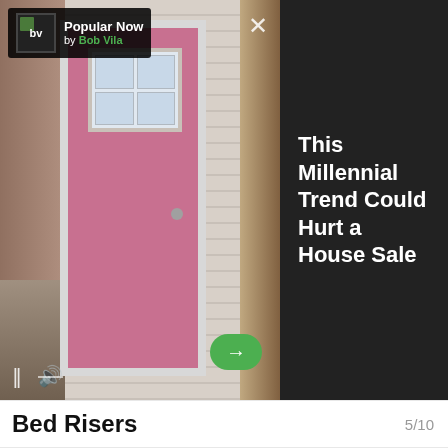[Figure (screenshot): Video ad showing a house with a pink front door. Brand bar in top-left shows 'bv Popular Now by Bob Vila' logo. Dark info panel on right reads 'This Millennial Trend Could Hurt a House Sale'. Video controls (pause, mute) at bottom-left. Green arrow button at bottom-right. X close button at top-right.]
Bed Risers
5/10
[Figure (photo): Close-up photo of a bed with dark wood frame raised on black bed risers, with a woven natural fiber rug on the floor. Pinterest badge in top-left corner. White/gray area at the bottom with a close X button.]